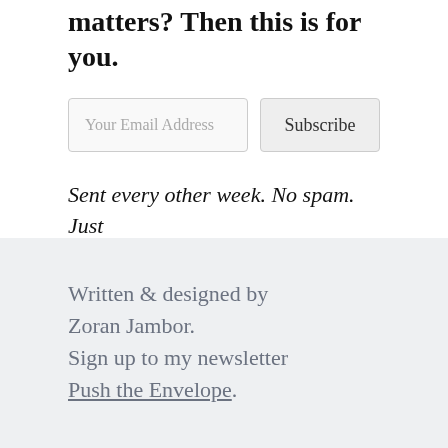matters? Then this is for you.
Your Email Address
Subscribe
Sent every other week. No spam. Just exceptional ideas to expand your horizons.
Written & designed by Zoran Jambor. Sign up to my newsletter Push the Envelope.